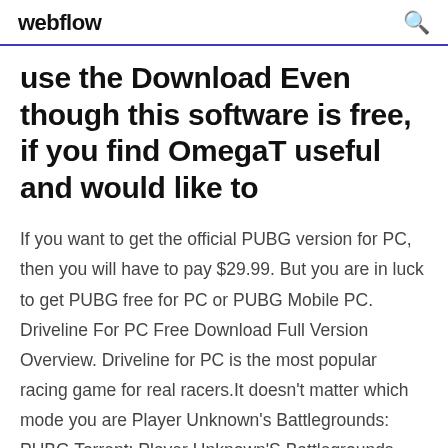webflow
use the Download Even though this software is free, if you find OmegaT useful and would like to
If you want to get the official PUBG version for PC, then you will have to pay $29.99. But you are in luck to get PUBG free for PC or PUBG Mobile PC. Driveline For PC Free Download Full Version Overview. Driveline for PC is the most popular racing game for real racers.It doesn't matter which mode you are Player Unknown's Battlegrounds: PUBG Torrent: Player Unknown'S Battlegrounds additionally referred to as pubg torrent is a game developed by Blue hole Studio INC. and PUBG torrent Corpo...